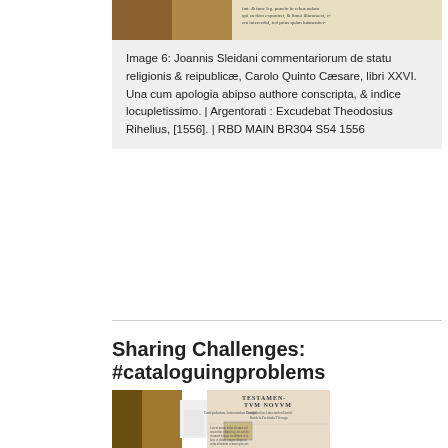[Figure (photo): Partial view of a historic printed book, showing decorative text and columns of Latin text on aged paper with brown/gold tones.]
Image 6: Joannis Sleidani commentariorum de statu religionis & reipublicæ, Carolo Quinto Cæsare, libri XXVI. Una cum apologia abipso authore conscripta, & indice locupletissimo. | Argentorati : Excudebat Theodosius Rihelius, [1556]. | RBD MAIN BR304 S54 1556
Sharing Challenges: #cataloguingproblems
[Figure (photo): Photograph of an open historic book showing a title page fragment. The book is worn with damaged binding. The right page reads TESTAMENTVM NOVVM at the top in large letters, with Latin text below including columns and a woodcut illustration.]
Image 7 Title page fragment, Biblia Sacra Veteris et Novi Testamenti ivxta